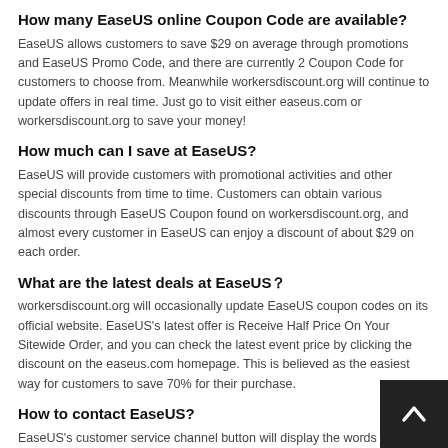How many EaseUS online Coupon Code are available?
EaseUS allows customers to save $29 on average through promotions and EaseUS Promo Code, and there are currently 2 Coupon Code for customers to choose from. Meanwhile workersdiscount.org will continue to update offers in real time. Just go to visit either easeus.com or workersdiscount.org to save your money!
How much can I save at EaseUS?
EaseUS will provide customers with promotional activities and other special discounts from time to time. Customers can obtain various discounts through EaseUS Coupon found on workersdiscount.org, and almost every customer in EaseUS can enjoy a discount of about $29 on each order.
What are the latest deals at EaseUS？
workersdiscount.org will occasionally update EaseUS coupon codes on its official website. EaseUS's latest offer is Receive Half Price On Your Sitewide Order, and you can check the latest event price by clicking the discount on the easeus.com homepage. This is believed as the easiest way for customers to save 70% for their purchase.
How to contact EaseUS?
EaseUS's customer service channel button will display the words